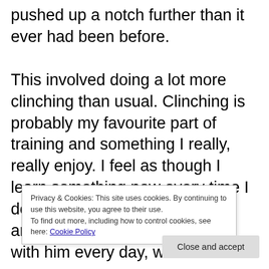pushed up a notch further than it ever had been before.

This involved doing a lot more clinching than usual. Clinching is probably my favourite part of training and something I really, really enjoy. I feel as though I learn something new every time I do it. Kru Singh had me doing around 30 minutes of clinching with him every day, which I l... When I mentioned this to Sylvio... D... c... n... n... offer, one that I knew would really help me. I get
Privacy & Cookies: This site uses cookies. By continuing to use this website, you agree to their use.
To find out more, including how to control cookies, see here: Cookie Policy
Close and accept